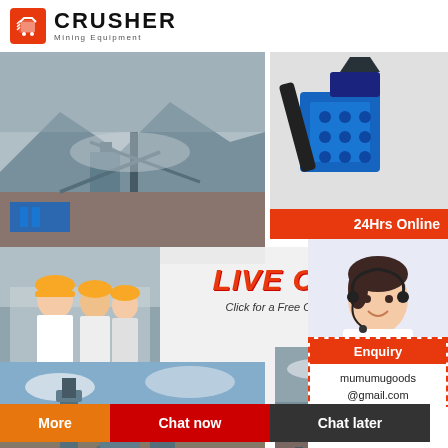[Figure (logo): CRUSHER Mining Equipment logo with red shopping bag icon and bold text]
[Figure (photo): Mining/crushing plant facility with industrial machinery and mountains in background]
[Figure (photo): Blue industrial crusher/mining equipment close-up on white background]
24Hrs Online
production c...
[Figure (photo): Live chat overlay with workers in yellow hard hats and female customer service agent with headset]
LIVE CHAT
Click for a Free Consultation
More
Chat now
Chat later
Need questions & suggestion?
Chat Now
Enquiry
mumumugoods@gmail.com
[Figure (photo): Mining facility with tower and open pit]
[Figure (photo): Mining conveyor and equipment site]